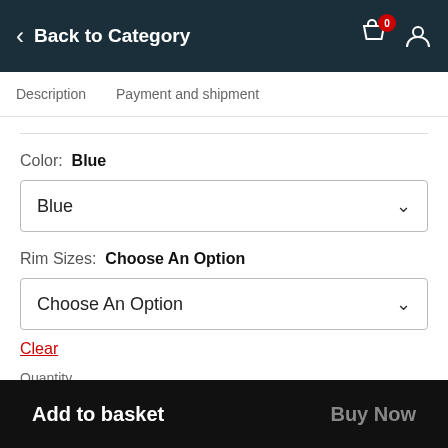Back to Category
Description  Payment and shipment
Color: Blue
Blue
Rim Sizes: Choose An Option
Choose An Option
Clear
Quantity
1
Add to basket   Buy Now